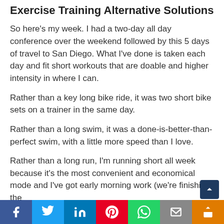Exercise Training Alternative Solutions
So here's my week. I had a two-day all day conference over the weekend followed by this 5 days of travel to San Diego. What I've done is taken each day and fit short workouts that are doable and higher intensity in where I can.
Rather than a key long bike ride, it was two short bike sets on a trainer in the same day.
Rather than a long swim, it was a done-is-better-than-perfect swim, with a little more speed than I love.
Rather than a long run, I'm running short all week because it's the most convenient and economical mode and I've got early morning work (we're finishing the
Facebook Twitter LinkedIn Pinterest WhatsApp Email Share